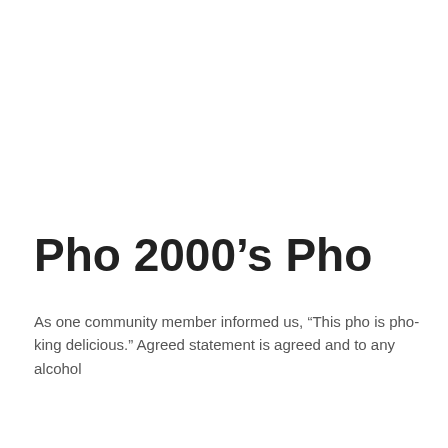Pho 2000’s Pho
As one community member informed us, “This pho is pho-king delicious.” Agreed statement is agreed and to any alcohol